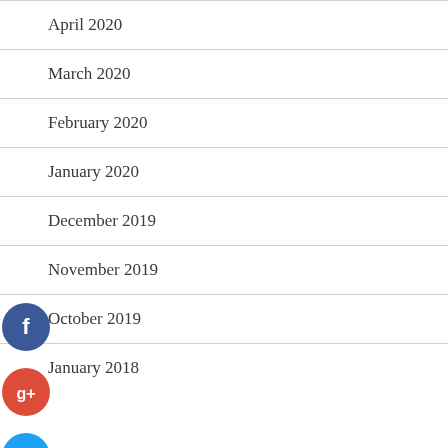April 2020
March 2020
February 2020
January 2020
December 2019
November 2019
October 2019
January 2018